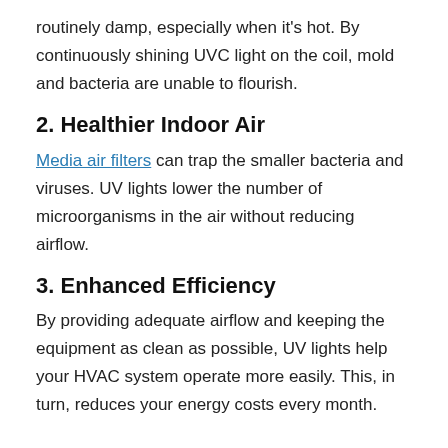routinely damp, especially when it's hot. By continuously shining UVC light on the coil, mold and bacteria are unable to flourish.
2. Healthier Indoor Air
Media air filters can trap the smaller bacteria and viruses. UV lights lower the number of microorganisms in the air without reducing airflow.
3. Enhanced Efficiency
By providing adequate airflow and keeping the equipment as clean as possible, UV lights help your HVAC system operate more easily. This, in turn, reduces your energy costs every month.